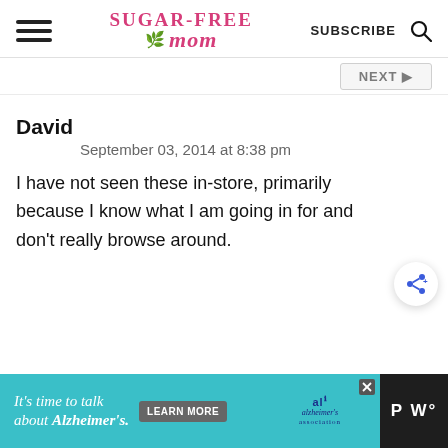Sugar-Free Mom — SUBSCRIBE
David
September 03, 2014 at 8:38 pm
I have not seen these in-store, primarily because I know what I am going in for and don't really browse around.
[Figure (screenshot): Advertisement banner: It's time to talk about Alzheimer's. Learn More. Alzheimer's association logo.]